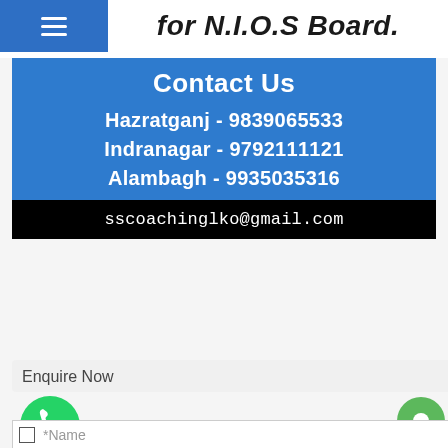for N.I.O.S Board.
Contact Us
Hazratganj - 9839065533
Indranagar - 9792111121
Alambagh - 9935035316
sscoachinglko@gmail.com
Enquire Now
*Name